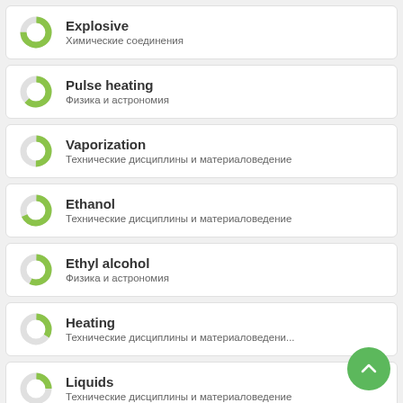Explosive
Химические соединения
Pulse heating
Физика и астрономия
Vaporization
Технические дисциплины и материаловедение
Ethanol
Технические дисциплины и материаловедение
Ethyl alcohol
Физика и астрономия
Heating
Технические дисциплины и материаловедени...
Liquids
Технические дисциплины и материаловедение